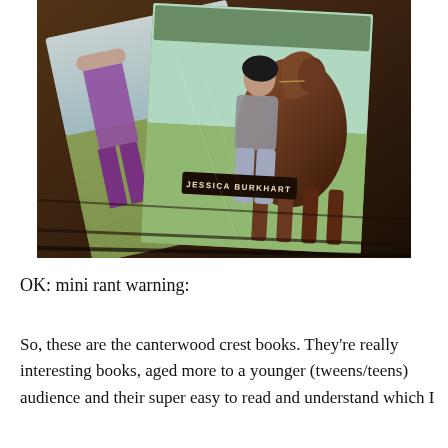[Figure (photo): Photograph of book covers by Jessica Burkhart (Canterwood Crest series) laid on a wooden surface. One cover shows a person in purple pants, another shows a girl in riding gear next to a brown horse with an author name label reading 'JESSICA BURKHART'.]
OK: mini rant warning:
So, these are the canterwood crest books. They're really interesting books, aged more to a younger (tweens/teens) audience and their super easy to read and understand which I